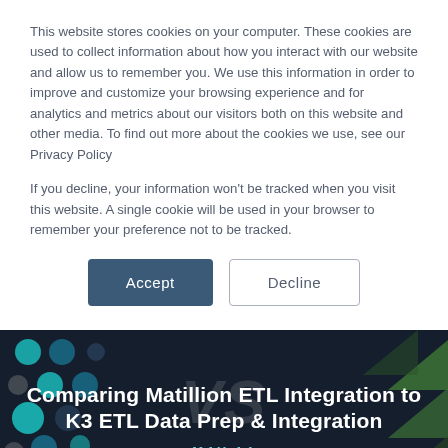This website stores cookies on your computer. These cookies are used to collect information about how you interact with our website and allow us to remember you. We use this information in order to improve and customize your browsing experience and for analytics and metrics about our visitors both on this website and other media. To find out more about the cookies we use, see our Privacy Policy
If you decline, your information won't be tracked when you visit this website. A single cookie will be used in your browser to remember your preference not to be tracked.
[Figure (other): Two buttons: 'Accept' (dark blue filled) and 'Decline' (white with border)]
Comparing Matillion ETL Integration to K3 ETL Data Prep & Integration
MAY 14